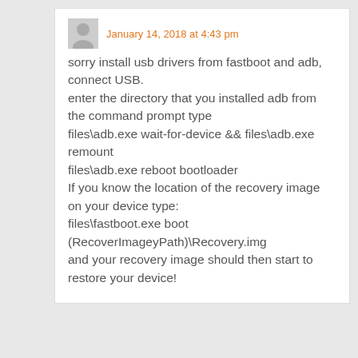January 14, 2018 at 4:43 pm
sorry install usb drivers from fastboot and adb, connect USB.
enter the directory that you installed adb from the command prompt type
files\adb.exe wait-for-device && files\adb.exe remount
files\adb.exe reboot bootloader
If you know the location of the recovery image on your device type:
files\fastboot.exe boot (RecoverImageyPath)\Recovery.img
and your recovery image should then start to restore your device!